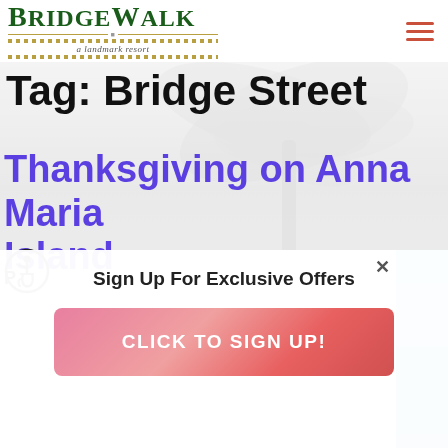[Figure (logo): BridgeWalk a landmark resort logo in dark green serif font with decorative horizontal lines]
[Figure (other): Hamburger menu icon in orange/coral color, three horizontal lines]
Tag: Bridge Street
Thanksgiving on Anna Maria Island
[Figure (other): Wheelchair accessibility icon, black circle outline with figure]
P
Sign Up For Exclusive Offers
CLICK TO SIGN UP!